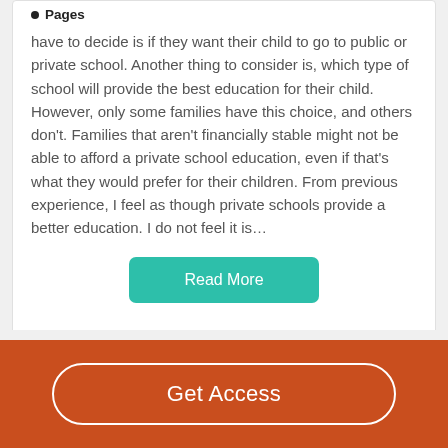Pages
have to decide is if they want their child to go to public or private school. Another thing to consider is, which type of school will provide the best education for their child. However, only some families have this choice, and others don't. Families that aren't financially stable might not be able to afford a private school education, even if that's what they would prefer for their children. From previous experience, I feel as though private schools provide a better education. I do not feel it is…
Read More
Related P
Get Access